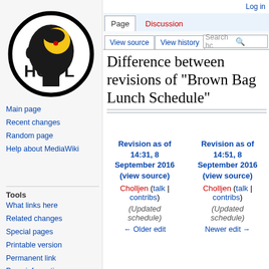Log in
[Figure (logo): HCIL logo — circular black border with yellow and black graphic head silhouette, red dot, text 'HCiL' inside]
Main page
Recent changes
Random page
Help about MediaWiki
Tools
What links here
Related changes
Special pages
Printable version
Permanent link
Page information
Difference between revisions of "Brown Bag Lunch Schedule"
| Revision as of 14:31, 8 September 2016 (view source) | Revision as of 14:51, 8 September 2016 (view source) |
| --- | --- |
| Cholljen (talk | contribs) | Cholljen (talk | contribs) |
| (Updated schedule) | (Updated schedule) |
| ← Older edit | Newer edit → |